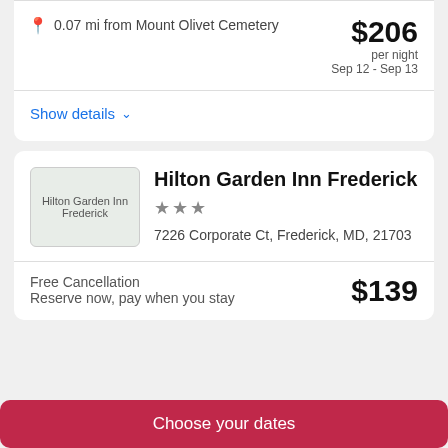0.07 mi from Mount Olivet Cemetery
$206 per night Sep 12 - Sep 13
Show details
[Figure (photo): Hilton Garden Inn Frederick hotel thumbnail image]
Hilton Garden Inn Frederick
★★★
7226 Corporate Ct, Frederick, MD, 21703
Free Cancellation
Reserve now, pay when you stay
$139
Choose your dates